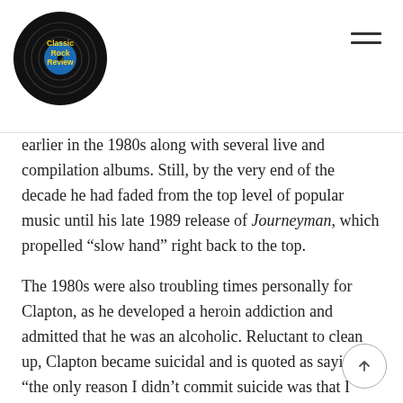Classic Rock Review
earlier in the 1980s along with several live and compilation albums. Still, by the very end of the decade he had faded from the top level of popular music until his late 1989 release of Journeyman, which propelled “slow hand” right back to the top.
The 1980s were also troubling times personally for Clapton, as he developed a heroin addiction and admitted that he was an alcoholic. Reluctant to clean up, Clapton became suicidal and is quoted as saying, “the only reason I didn’t commit suicide was that I knew I wouldn’t be able to drink any more if I was dead.”